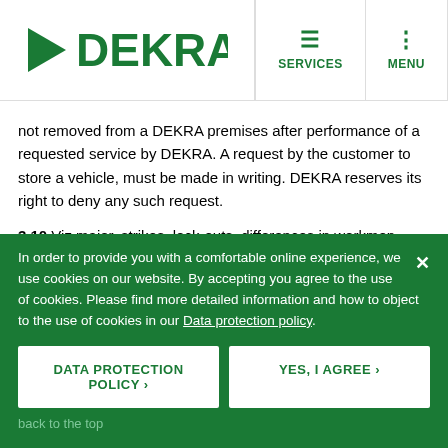DEKRA — SERVICES | MENU
not removed from a DEKRA premises after performance of a requested service by DEKRA. A request by the customer to store a vehicle, must be made in writing. DEKRA reserves its right to deny any such request.
3.10 Viz major, strikes, lock-outs, differences in workmen, faulty machinery, failure of usual sources of supply of equipment and
In order to provide you with a comfortable online experience, we use cookies on our website. By accepting you agree to the use of cookies. Please find more detailed information and how to object to the use of cookies in our Data protection policy.
DATA PROTECTION POLICY ›
YES, I AGREE ›